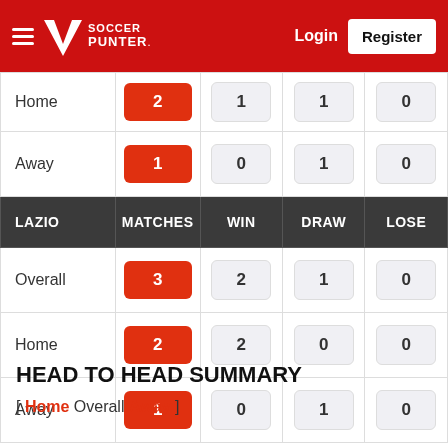Soccer Punter — Login | Register
|  | MATCHES | WIN | DRAW | LOSE |
| --- | --- | --- | --- | --- |
| Home | 2 | 1 | 1 | 0 |
| Away | 1 | 0 | 1 | 0 |
| LAZIO | MATCHES | WIN | DRAW | LOSE |
| Overall | 3 | 2 | 1 | 0 |
| Home | 2 | 2 | 0 | 0 |
| Away | 1 | 0 | 1 | 0 |
HEAD TO HEAD SUMMARY
[ Home Overall Away ]